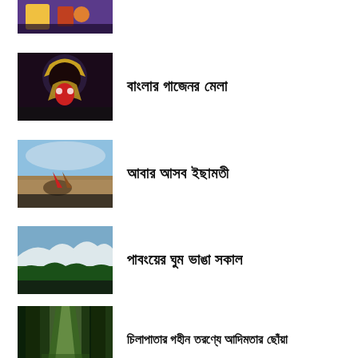[Figure (photo): Partially visible photo at top of page, colorful scene]
[Figure (photo): Dark image of a deity/masked figure with golden crown]
বাংলার গাজেনর মেলা
[Figure (photo): River scene with a red boat and cloudy sky]
আবার আসব ইছামতী
[Figure (photo): Mountain landscape with green forest in foreground]
পাবংয়ের ঘুম ভাঙা সকাল
[Figure (photo): Green forest path with light filtering through tall trees]
চিলাপাতার গহীন তরণ্যে আদিমতার ছোঁয়া